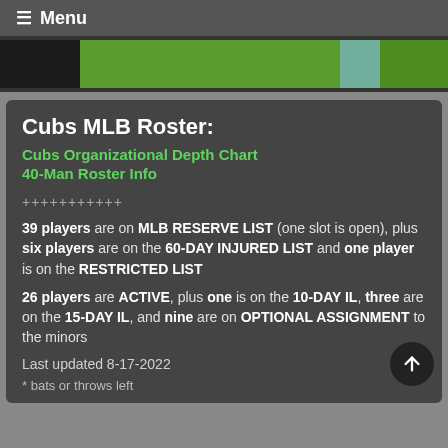☰ Menu
[Figure (photo): Partial photo strip showing baseball player in green and blue uniform]
Cubs MLB Roster:
Cubs Organizational Depth Chart
40-Man Roster Info
+++++++++++
39 players are on MLB RESERVE LIST (one slot is open), plus six players are on the 60-DAY INJURED LIST and one player is on the RESTRICTED LIST
26 players are ACTIVE, plus one is on the 10-DAY IL, three are on the 15-DAY IL, and nine are on OPTIONAL ASSIGNMENT to the minors
Last updated 8-17-2022
* bats or throws left